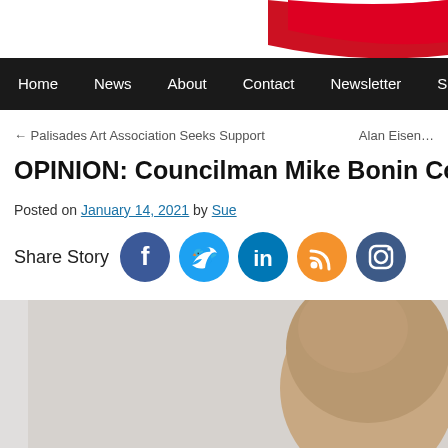[Figure (photo): Red diagonal brushstroke/stripe in top right corner of website header]
Home  News  About  Contact  Newsletter  Support by Dona…
← Palisades Art Association Seeks Support    Alan Eisen…
OPINION: Councilman Mike Bonin Compl…
Posted on January 14, 2021 by Sue
Share Story [Facebook] [Twitter] [LinkedIn] [RSS] [Instagram]
[Figure (photo): Photo of a bald man, partial view showing top and back of head, light gray background]